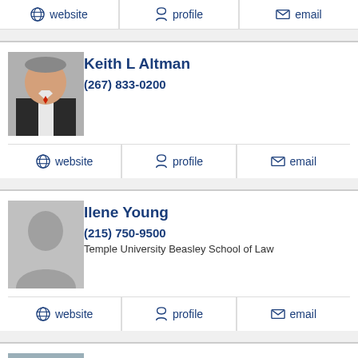website | profile | email
Keith L Altman
(267) 833-0200
website | profile | email
Ilene Young
(215) 750-9500
Temple University Beasley School of Law
website | profile | email
Kevin Golembiewski
(215) 564-1030